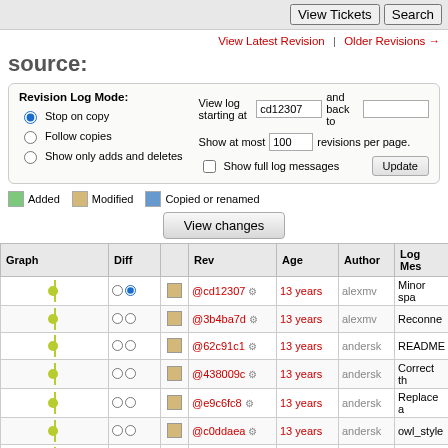View Tickets | Search
View Latest Revision | Older Revisions →
source:
Revision Log Mode: Stop on copy / Follow copies / Show only adds and deletes | View log starting at cd12307 and back to | Show at most 100 revisions per page. | Show full log messages | Update
Added  Modified  Copied or renamed
View changes
| Graph | Diff |  | Rev | Age | Author | Log Mes |
| --- | --- | --- | --- | --- | --- | --- |
|  |  |  | @cd12307 ⚙ | 13 years | alexmv | Minor spa |
|  |  |  | @3b4ba7d ⚙ | 13 years | alexmv | Reconne |
|  |  |  | @62c91c1 ⚙ | 13 years | andersk | README |
|  |  |  | @438009c ⚙ | 13 years | andersk | Correct th |
|  |  |  | @e9c6fc8 ⚙ | 13 years | andersk | Replace a |
|  |  |  | @c0ddaea ⚙ | 13 years | andersk | owl_style |
|  |  |  | @bafbba1 ⚙ | 13 years | andersk | owl_perl. |
|  |  |  | @129e609 ⚙ | 13 years | nelhage | Use a ow |
|  |  |  | @2c48db8 ⚙ | 13 years | kcr | don't ope |